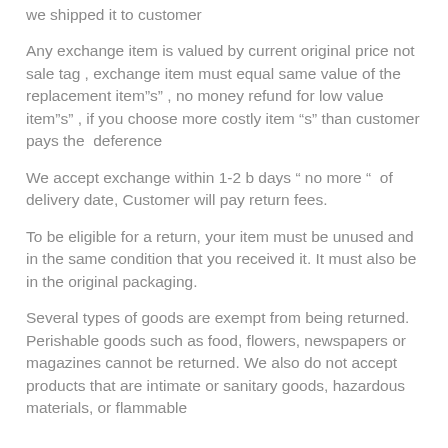we shipped it to customer
Any exchange item is valued by current original price not sale tag , exchange item must equal same value of the replacement item”s” , no money refund for low value item”s” , if you choose more costly item “s” than customer pays the  deference
We accept exchange within 1-2 b days “ no more “  of delivery date, Customer will pay return fees.
To be eligible for a return, your item must be unused and in the same condition that you received it. It must also be in the original packaging.
Several types of goods are exempt from being returned. Perishable goods such as food, flowers, newspapers or magazines cannot be returned. We also do not accept products that are intimate or sanitary goods, hazardous materials, or flammable